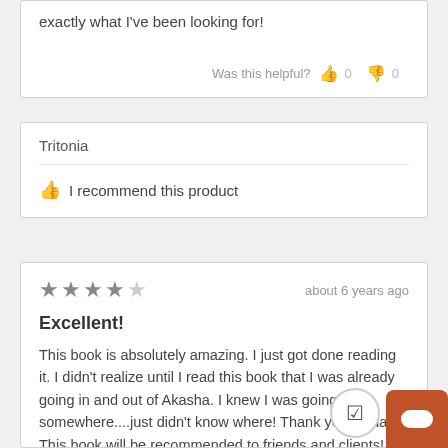exactly what I've been looking for!
Was this helpful? 👍 0 👎 0
Tritonia
👍 I recommend this product
★★★★☆  about 6 years ago
Excellent!
This book is absolutely amazing. I just got done reading it. I didn't realize until I read this book that I was already going in and out of Akasha. I knew I was going somewhere....just didn't know where! Thank you Linda! This book will be recommended to friends and clients!